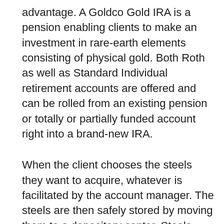advantage. A Goldco Gold IRA is a pension enabling clients to make an investment in rare-earth elements consisting of physical gold. Both Roth as well as Standard Individual retirement accounts are offered and can be rolled from an existing pension or totally or partially funded account right into a brand-new IRA.
When the client chooses the steels they want to acquire, whatever is facilitated by the account manager. The steels are then safely stored by moving them to a depository center. Steels must fulfill the excellence requirements of the IRS of 99.9 percent purity to receive enhancement to a precious metals IRA.